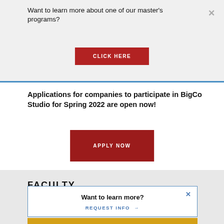Want to learn more about one of our master's programs?
CLICK HERE
Applications for companies to participate in BigCo Studio for Spring 2022 are open now!
APPLY NOW
FACULTY
Want to learn more?
REQUEST INFO →